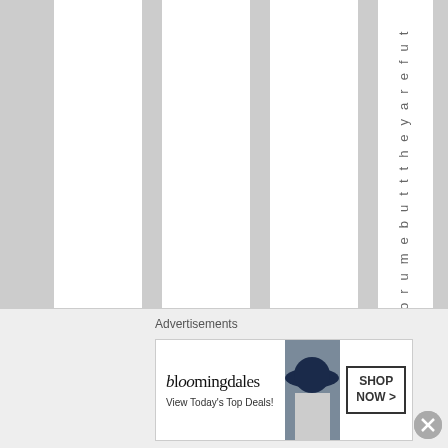[Figure (screenshot): Web page screenshot showing vertical striped column layout with rotated vertical text reading 'orumebutttheyarefut' along the right side, and an advertisement banner at the bottom for Bloomingdale's with 'Advertisements' label above it and a close button.]
o r u m e b u t t h e y a r e f u t
Advertisements
[Figure (screenshot): Bloomingdale's advertisement banner showing logo text 'bloomingdales', 'View Today's Top Deals!' text, a woman in a wide-brimmed hat, and a 'SHOP NOW >' button.]